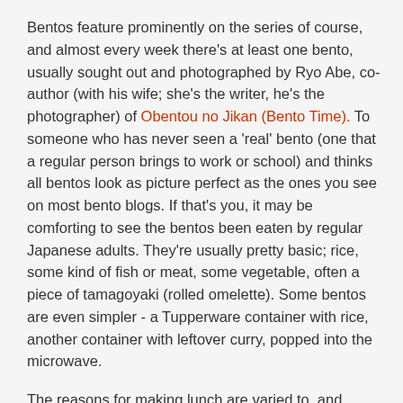Bentos feature prominently on the series of course, and almost every week there's at least one bento, usually sought out and photographed by Ryo Abe, co-author (with his wife; she's the writer, he's the photographer) of Obentou no Jikan (Bento Time). To someone who has never seen a 'real' bento (one that a regular person brings to work or school) and thinks all bentos look as picture perfect as the ones you see on most bento blogs. If that's you, it may be comforting to see the bentos been eaten by regular Japanese adults. They're usually pretty basic; rice, some kind of fish or meat, some vegetable, often a piece of tamagoyaki (rolled omelette). Some bentos are even simpler - a Tupperware container with rice, another container with leftover curry, popped into the microwave.
The reasons for making lunch are varied to, and surprisingly perhaps the men have more interesting reasons than the women. (Women just seem to make bentos as a matter of course.) One salaryman in his 30s recently got re-married - to his former wife. They'd split up partly due to the fact that he never helped out around the house with any chores. This time around he's making